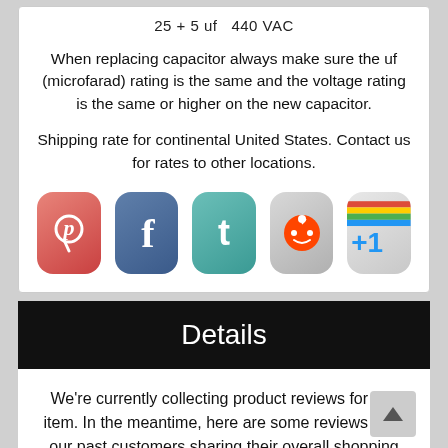25 + 5 uf   440 VAC
When replacing capacitor always make sure the uf (microfarad) rating is the same and the voltage rating is the same or higher on the new capacitor.
Shipping rate for continental United States. Contact us for rates to other locations.
[Figure (illustration): Social media sharing icons: Pinterest, Facebook, Twitter, Reddit, Google +1]
Details
We're currently collecting product reviews for this item. In the meantime, here are some reviews from our past customers sharing their overall shopping experience